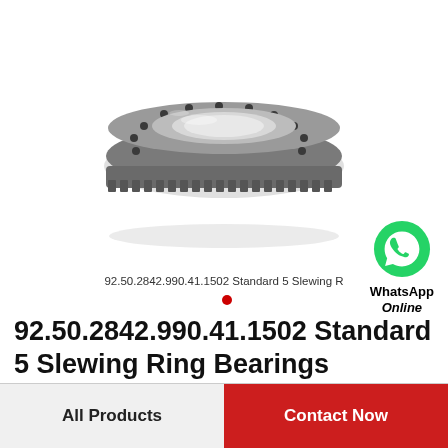[Figure (photo): Slewing ring bearing with toothed outer ring and bolt holes, photographed on white background. Product is 92.50.2842.990.41.1502 Standard 5 Slewing Ring Bearing.]
92.50.2842.990.41.1502 Standard 5 Slewing R
92.50.2842.990.41.1502 Standard 5 Slewing Ring Bearings
All Products   Contact Now